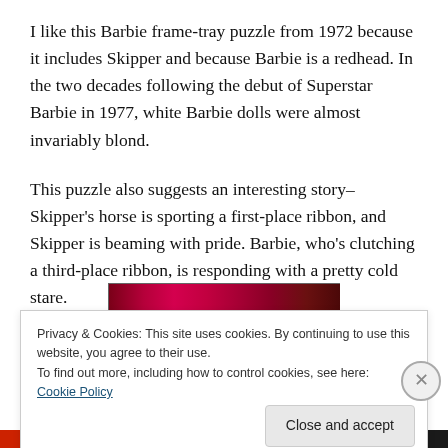I like this Barbie frame-tray puzzle from 1972 because it includes Skipper and because Barbie is a redhead. In the two decades following the debut of Superstar Barbie in 1977, white Barbie dolls were almost invariably blond.
This puzzle also suggests an interesting story–Skipper's horse is sporting a first-place ribbon, and Skipper is beaming with pride. Barbie, who's clutching a third-place ribbon, is responding with a pretty cold stare.
[Figure (photo): Partial view of a colorful Barbie puzzle box/image strip, showing a crimson/pink patterned band]
Privacy & Cookies: This site uses cookies. By continuing to use this website, you agree to their use.
To find out more, including how to control cookies, see here: Cookie Policy